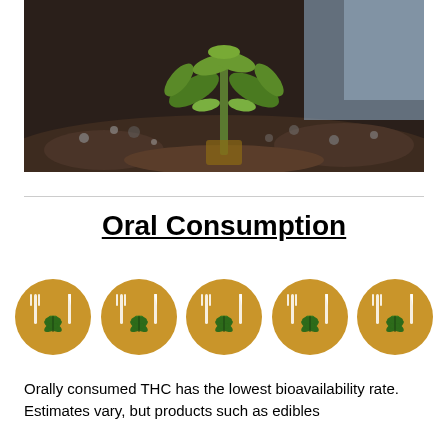[Figure (photo): A cannabis seedling growing in dark soil, photographed close-up with a blurred background.]
Oral Consumption
[Figure (illustration): Five golden circular icons each depicting a cannabis leaf with fork and knife (plate/dining symbols), representing oral consumption of cannabis edibles.]
Orally consumed THC has the lowest bioavailability rate. Estimates vary, but products such as edibles